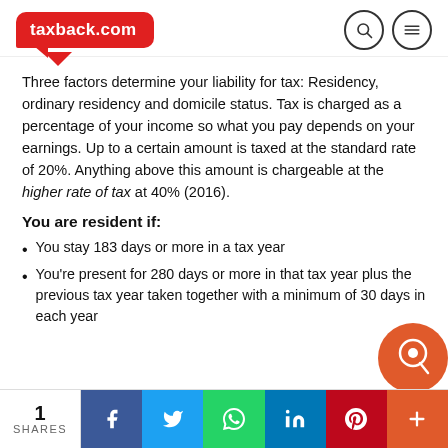taxback.com
Three factors determine your liability for tax: Residency, ordinary residency and domicile status. Tax is charged as a percentage of your income so what you pay depends on your earnings. Up to a certain amount is taxed at the standard rate of 20%. Anything above this amount is chargeable at the higher rate of tax at 40% (2016).
You are resident if:
You stay 183 days or more in a tax year
You're present for 280 days or more in that tax year plus the previous tax year taken together with a minimum of 30 days in each year